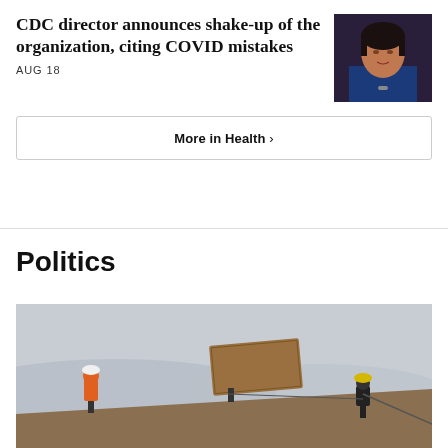CDC director announces shake-up of the organization, citing COVID mistakes
AUG 18
[Figure (photo): Headshot of a woman with dark hair wearing a blue jacket, appearing to speak at a hearing]
More in Health ›
Politics
[Figure (photo): Construction workers on a rooftop carrying a large sheet of plywood, with a hazy landscape in the background]